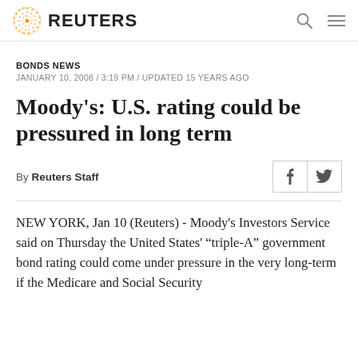REUTERS
BONDS NEWS
JANUARY 10, 2008 / 3:19 PM / UPDATED 15 YEARS AGO
Moody's: U.S. rating could be pressured in long term
By Reuters Staff
NEW YORK, Jan 10 (Reuters) - Moody's Investors Service said on Thursday the United States' “triple-A” government bond rating could come under pressure in the very long-term if the Medicare and Social Security